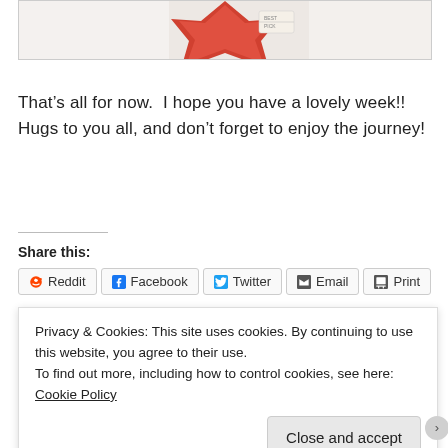[Figure (photo): Top portion of a photo showing a red decorative item (possibly a ribbon or bow) with a label/tag, against a white fabric background]
That’s all for now.  I hope you have a lovely week!!  Hugs to you all, and don’t forget to enjoy the journey!
Share this:
Reddit  Facebook  Twitter  Email  Print
Privacy & Cookies: This site uses cookies. By continuing to use this website, you agree to their use.
To find out more, including how to control cookies, see here: Cookie Policy
Close and accept